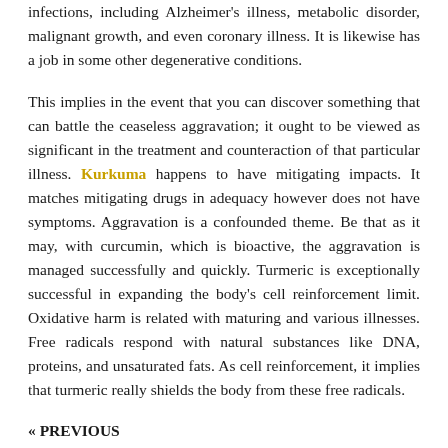infections, including Alzheimer's illness, metabolic disorder, malignant growth, and even coronary illness. It is likewise has a job in some other degenerative conditions.
This implies in the event that you can discover something that can battle the ceaseless aggravation; it ought to be viewed as significant in the treatment and counteraction of that particular illness. Kurkuma happens to have mitigating impacts. It matches mitigating drugs in adequacy however does not have symptoms. Aggravation is a confounded theme. Be that as it may, with curcumin, which is bioactive, the aggravation is managed successfully and quickly. Turmeric is exceptionally successful in expanding the body's cell reinforcement limit. Oxidative harm is related with maturing and various illnesses. Free radicals respond with natural substances like DNA, proteins, and unsaturated fats. As cell reinforcement, it implies that turmeric really shields the body from these free radicals.
« PREVIOUS